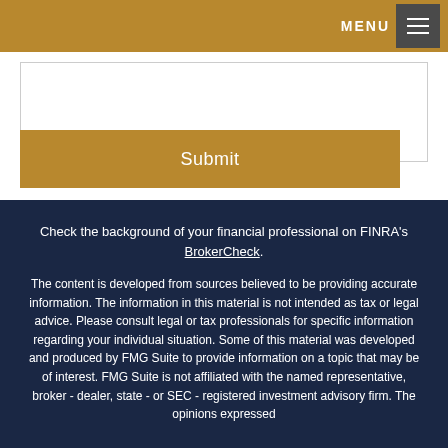MENU
Submit
Check the background of your financial professional on FINRA's BrokerCheck.
The content is developed from sources believed to be providing accurate information. The information in this material is not intended as tax or legal advice. Please consult legal or tax professionals for specific information regarding your individual situation. Some of this material was developed and produced by FMG Suite to provide information on a topic that may be of interest. FMG Suite is not affiliated with the named representative, broker - dealer, state - or SEC - registered investment advisory firm. The opinions expressed